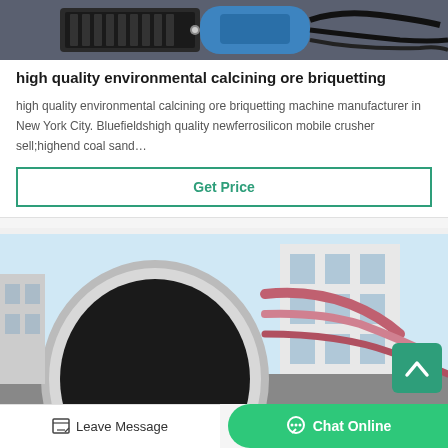[Figure (photo): Industrial machinery photo showing a blue electric motor and black cables/hoses, industrial equipment]
high quality environmental calcining ore briquetting
high quality environmental calcining ore briquetting machine manufacturer in New York City. Bluefieldshigh quality newferrosilicon mobile crusher sell;highend coal sand…
Get Price
[Figure (photo): Industrial rotary drum/kiln equipment photographed outdoors next to a building with windows and blue sky background]
Leave Message
Chat Online